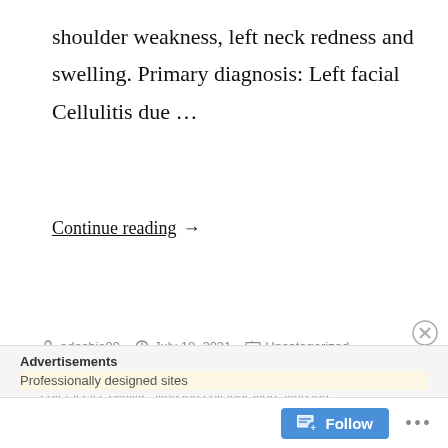shoulder weakness, left neck redness and swelling. Primary diagnosis: Left facial Cellulitis due …
Continue reading →
edochie99   July 18, 2021   Uncategorized  Left facial Cellulitis, Nursing collaboration, Nursing RESPONSIBILITIES, pain, swelling  Leave a comment
Advertisements
Professionally designed sites
Follow  •••